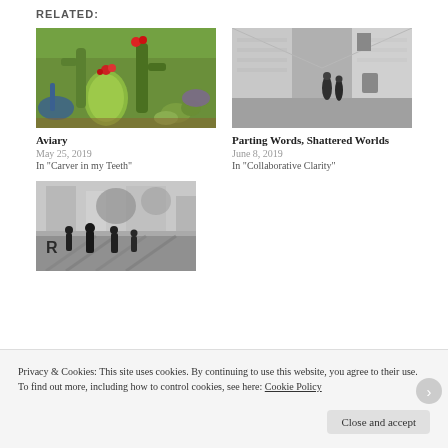RELATED:
[Figure (photo): Color photo of cacti and succulents with red flowers in a garden]
Aviary
May 25, 2019
In "Carver in my Teeth"
[Figure (photo): Black and white photo of a narrow European alley with two people walking]
Parting Words, Shattered Worlds
June 8, 2019
In "Collaborative Clarity"
[Figure (photo): Black and white blurred photo of people walking on a busy street]
Privacy & Cookies: This site uses cookies. By continuing to use this website, you agree to their use.
To find out more, including how to control cookies, see here: Cookie Policy
Close and accept